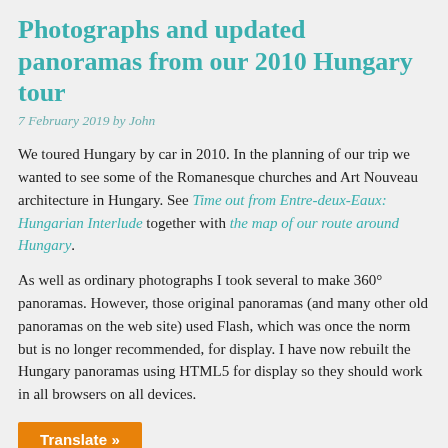Photographs and updated panoramas from our 2010 Hungary tour
7 February 2019 by John
We toured Hungary by car in 2010. In the planning of our trip we wanted to see some of the Romanesque churches and Art Nouveau architecture in Hungary. See Time out from Entre-deux-Eaux: Hungarian Interlude together with the map of our route around Hungary.
As well as ordinary photographs I took several to make 360° panoramas. However, those original panoramas (and many other old panoramas on the web site) used Flash, which was once the norm but is no longer recommended, for display. I have now rebuilt the Hungary panoramas using HTML5 for display so they should work in all browsers on all devices.
Translate »